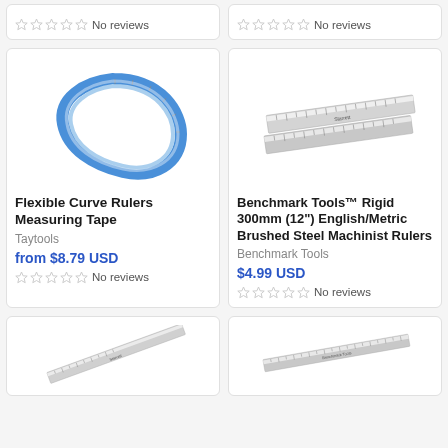No reviews (top left, partial card)
No reviews (top right, partial card)
[Figure (photo): Flexible blue curve ruler bent into a loop/spiral shape]
Flexible Curve Rulers Measuring Tape
Taytools
from $8.79 USD
No reviews
[Figure (photo): Two stainless steel machinist rulers side by side at an angle]
Benchmark Tools™ Rigid 300mm (12") English/Metric Brushed Steel Machinist Rulers
Benchmark Tools
$4.99 USD
No reviews
[Figure (photo): Metal ruler at an angle, partial view at bottom left]
[Figure (photo): Metal ruler at an angle, partial view at bottom right]